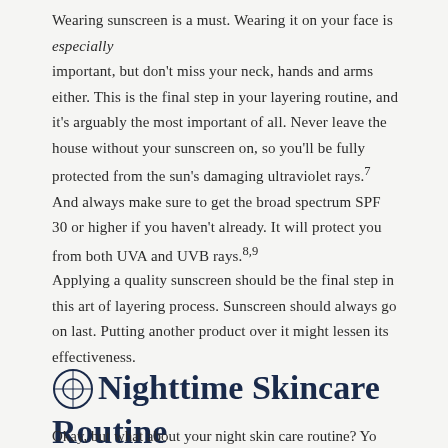Wearing sunscreen is a must. Wearing it on your face is especially important, but don't miss your neck, hands and arms either. This is the final step in your layering routine, and it's arguably the most important of all. Never leave the house without your sunscreen on, so you'll be fully protected from the sun's damaging ultraviolet rays.7 And always make sure to get the broad spectrum SPF 30 or higher if you haven't already. It will protect you from both UVA and UVB rays.8,9
Applying a quality sunscreen should be the final step in this art of layering process. Sunscreen should always go on last. Putting another product over it might lessen its effectiveness.
Nighttime Skincare Routine
Okay, but what about your night skin care routine? Yo